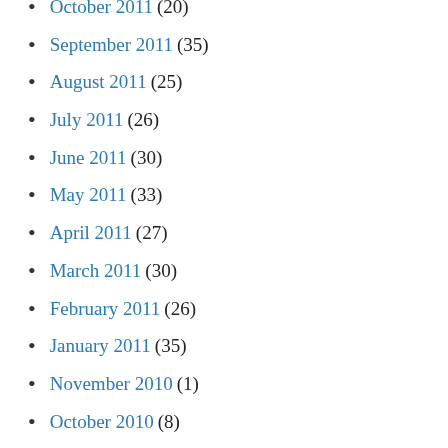October 2011 (20)
September 2011 (35)
August 2011 (25)
July 2011 (26)
June 2011 (30)
May 2011 (33)
April 2011 (27)
March 2011 (30)
February 2011 (26)
January 2011 (35)
November 2010 (1)
October 2010 (8)
September 2010 (15)
August 2010 (17)
July 2010 (8)
June 2010 (11)
May 2010 (20)